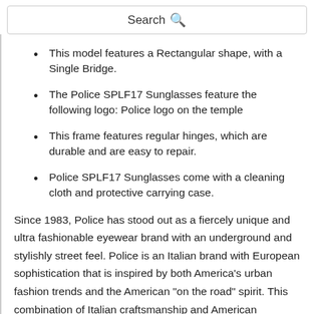Search
This model features a Rectangular shape, with a Single Bridge.
The Police SPLF17 Sunglasses feature the following logo: Police logo on the temple
This frame features regular hinges, which are durable and are easy to repair.
Police SPLF17 Sunglasses come with a cleaning cloth and protective carrying case.
Since 1983, Police has stood out as a fiercely unique and ultra fashionable eyewear brand with an underground and stylishly street feel. Police is an Italian brand with European sophistication that is inspired by both America's urban fashion trends and the American "on the road" spirit. This combination of Italian craftsmanship and American